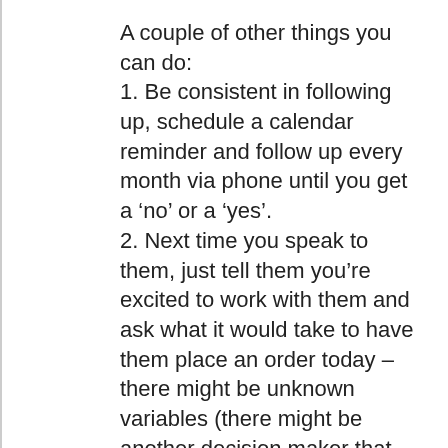A couple of other things you can do:
1. Be consistent in following up, schedule a calendar reminder and follow up every month via phone until you get a ‘no’ or a ‘yes’.
2. Next time you speak to them, just tell them you’re excited to work with them and ask what it would take to have them place an order today – there might be unknown variables (there might be another decision maker that you aren’t aware of, they might have buying cycles, there could be cashflow issues, etc, etc). Once you know whats stopping them you can see if there’s a solution you can offer